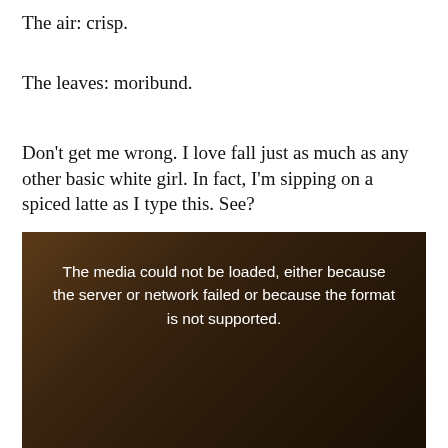The air: crisp.
The leaves: moribund.
Don't get me wrong. I love fall just as much as any other basic white girl. In fact, I'm sipping on a spiced latte as I type this. See?
[Figure (photo): A dark, blurred indoor scene (appears to be a coffee shop or room with framed pictures on walls) with a media error message overlay reading: 'The media could not be loaded, either because the server or network failed or because the format is not supported.']